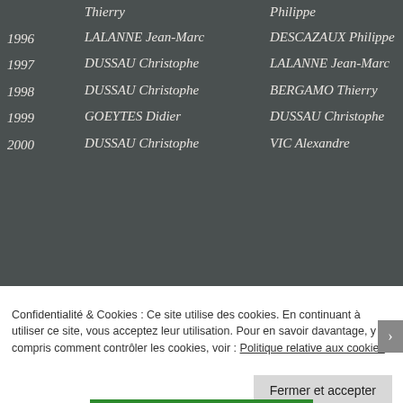| Year | Winner 1 | Winner 2 |
| --- | --- | --- |
|  | Thierry | Philippe |
| 1996 | LALANNE Jean-Marc | DESCAZAUX Philippe |
| 1997 | DUSSAU Christophe | LALANNE Jean-Marc |
| 1998 | DUSSAU Christophe | BERGAMO Thierry |
| 1999 | GOEYTES Didier | DUSSAU Christophe |
| 2000 | DUSSAU Christophe | VIC Alexandre |
Confidentialité & Cookies : Ce site utilise des cookies. En continuant à utiliser ce site, vous acceptez leur utilisation. Pour en savoir davantage, y compris comment contrôler les cookies, voir : Politique relative aux cookies
Fermer et accepter